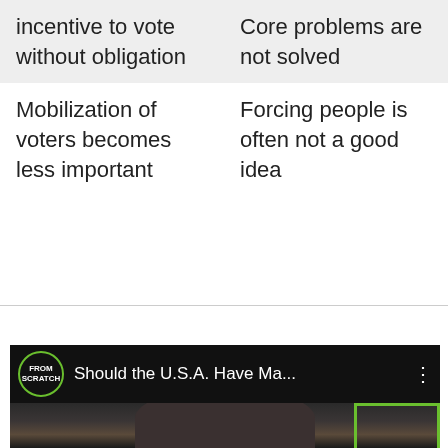| incentive to vote without obligation | Core problems are not solved |
| Mobilization of voters becomes less important | Forcing people is often not a good idea |
[Figure (screenshot): Video thumbnail from 'From Scratch' channel showing title 'Should the U.S.A. Have Ma...' with a cat in the background and a green border element]